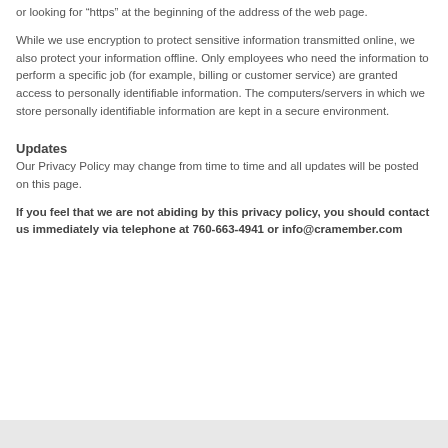or looking for “https” at the beginning of the address of the web page.
While we use encryption to protect sensitive information transmitted online, we also protect your information offline. Only employees who need the information to perform a specific job (for example, billing or customer service) are granted access to personally identifiable information. The computers/servers in which we store personally identifiable information are kept in a secure environment.
Updates
Our Privacy Policy may change from time to time and all updates will be posted on this page.
If you feel that we are not abiding by this privacy policy, you should contact us immediately via telephone at 760-663-4941 or info@cramember.com